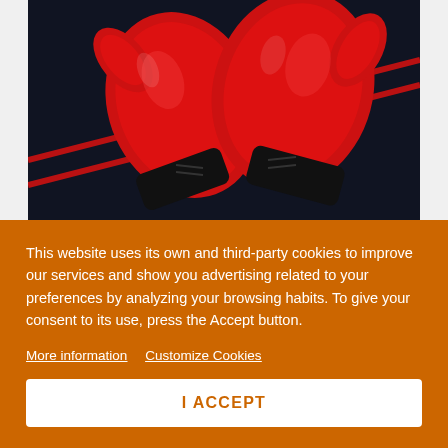[Figure (photo): Close-up photo of red boxing gloves hanging against a dark background with red ropes visible]
Shopping guide | Boxing Gloves
What are boxing gloves made of?... What weight of boxing glove do I need?. All answers here. We also
This website uses its own and third-party cookies to improve our services and show you advertising related to your preferences by analyzing your browsing habits. To give your consent to its use, press the Accept button.
More information  Customize Cookies
I ACCEPT